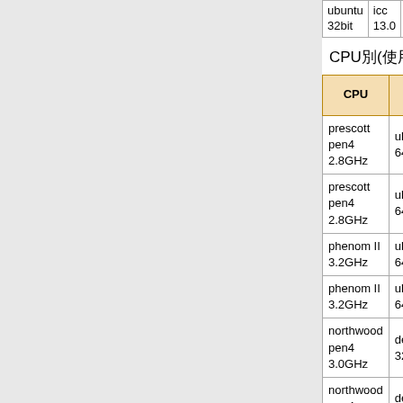| CPU | OS | SIMD 命令 | （部分省略） |
| --- | --- | --- | --- |
| ubuntu 32bit | icc 13.0 | □ | 117855 |
| prescott pen4 2.8GHz | ubuntu 64bit | □ | 6226 |
| prescott pen4 2.8GHz | ubuntu 64bit | □ | 3425 |
| phenom II 3.2GHz | ubuntu 64bit | □ | 1391 |
| phenom II 3.2GHz | ubuntu 64bit | □ | 1036 |
| northwood pen4 3.0GHz | debian 32bit | □ | 7355 |
| northwood pen4 3.0GHz | debian 32bit | □ | 6327 |
| prescott (partial) |  |  |  |
CPU別(使用コンパイラ gcc 4.6,4.7)
| CPU | OS | SIMD 命令 | （列） |
| --- | --- | --- | --- |
| prescott pen4 2.8GHz | ubuntu 64bit | □ | 6226 |
| prescott pen4 2.8GHz | ubuntu 64bit | □ | 3425 |
| phenom II 3.2GHz | ubuntu 64bit | □ | 1391 |
| phenom II 3.2GHz | ubuntu 64bit | □ | 1036 |
| northwood pen4 3.0GHz | debian 32bit | □ | 7355 |
| northwood pen4 3.0GHz | debian 32bit | □ | 6327 |
| prescott |  |  |  |